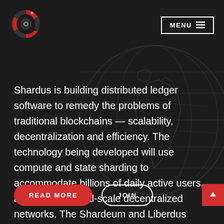[Figure (logo): Shardus circular logo with red and dark segments and a central dot, resembling a roulette wheel]
MENU ≡
Shardus is building distributed ledger software to remedy the problems of traditional blockchains — scalability, decentralization and efficiency. The technology being developed will use compute and state sharding to accommodate billions of daily active users, allowing for global-scale decentralized networks. The Shardeum and Liberdus networks will be launched using this technology.
READ MORE
JOIN